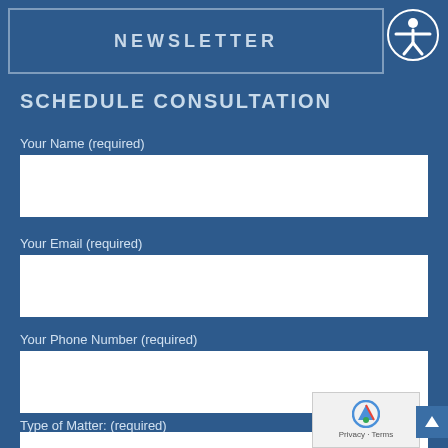NEWSLETTER
SCHEDULE CONSULTATION
Your Name (required)
Your Email (required)
Your Phone Number (required)
Type of Matter: (required)